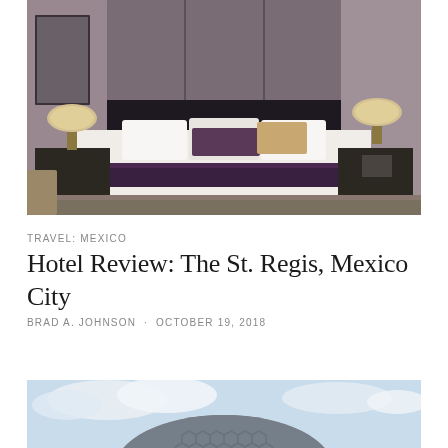[Figure (photo): Luxury hotel bedroom with a king-size bed featuring white linens, a purple decorative pillow, and a dark purple bed runner. Dark wood headboard with padded grey panels. Two bedside tables with warm-glow table lamps on each side.]
TRAVEL: MEXICO
Hotel Review: The St. Regis, Mexico City
BRAD A. JOHNSON  ·  OCTOBER 19, 2018
[Figure (photo): Bottom portion of a building exterior with blue sky and clouds visible, showing a curved architectural element with honeycomb/hexagonal pattern.]